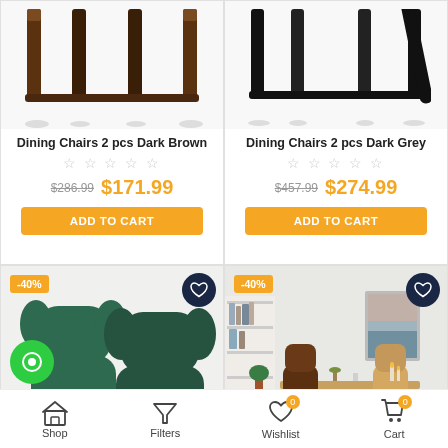[Figure (screenshot): Product listing for Dining Chairs 2 pcs Dark Brown with chair legs image, star rating, old price $286.99, new price $171.99, and Add to Cart button]
[Figure (screenshot): Product listing for Dining Chairs 2 pcs Dark Grey with chair legs image, star rating, old price $457.99, new price $274.99, and Add to Cart button]
[Figure (screenshot): Product listing showing two dark green upholstered chairs with -40% discount badge and heart/wishlist button]
[Figure (screenshot): Product listing showing a dining room scene with wooden desk, chairs, and decor, -40% discount badge and heart/wishlist button]
Shop  Filters  Wishlist 0  Cart 0